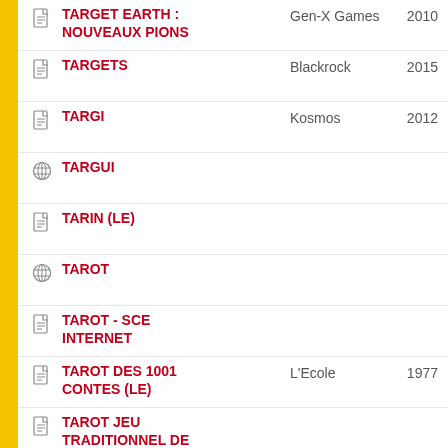TARGET EARTH : NOUVEAUX PIONS
TARGETS
TARGI
TARGUI
TARIN (LE)
TAROT
TAROT - SCE INTERNET
TAROT DES 1001 CONTES (LE)
TAROT JEU TRADITIONNEL DE 78 CARTES